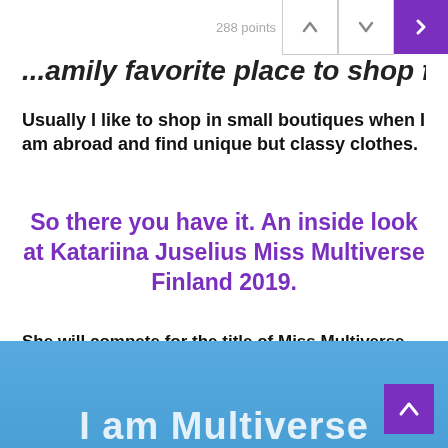288 points
...amily favorite place to shop for...
Usually I like to shop in small boutiques when I am abroad and find unique but classy clothes.
So there you have it. An inside look at Katariina Juselius Miss Multiverse Finland 2019.
She will compete for the title of Miss Multiverse, against experienced and like-minded contestants from different countries whom are on top of their game physically, mentally and emotionally.
[Figure (photo): Blue background banner with white bold text reading 'I am Multiverse' and a purple scroll-up button in the bottom right corner.]